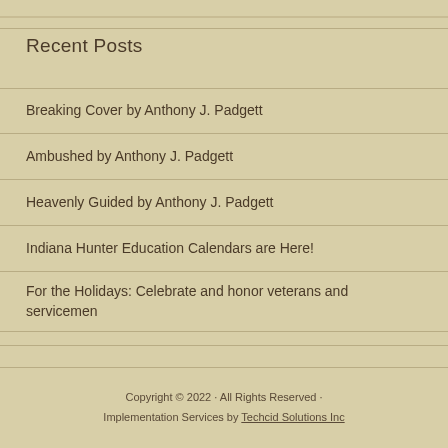Recent Posts
Breaking Cover by Anthony J. Padgett
Ambushed by Anthony J. Padgett
Heavenly Guided by Anthony J. Padgett
Indiana Hunter Education Calendars are Here!
For the Holidays: Celebrate and honor veterans and servicemen
Copyright © 2022 · All Rights Reserved · Implementation Services by Techcid Solutions Inc